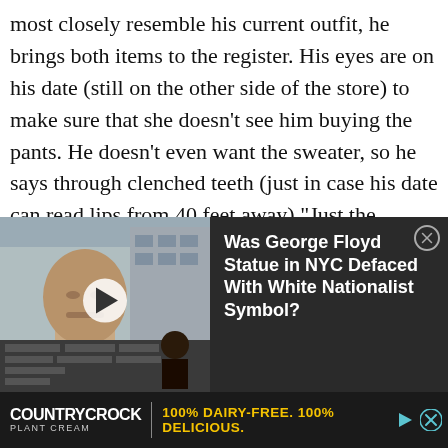most closely resemble his current outfit, he brings both items to the register. His eyes are on his date (still on the other side of the store) to make sure that she doesn't see him buying the pants. He doesn't even want the sweater, so he says through clenched teeth (just in case his date can read lips from 40 feet away) “Just the pants.”

“What?” asks the Gap girl.
[Figure (screenshot): News video thumbnail showing a George Floyd bust/statue with protest scene below, alongside headline 'Was George Floyd Statue in NYC Defaced With White Nationalist Symbol?']
[Figure (screenshot): Advertisement banner for Country Crock Plant Cream reading '100% DAIRY-FREE. 100% DELICIOUS.']